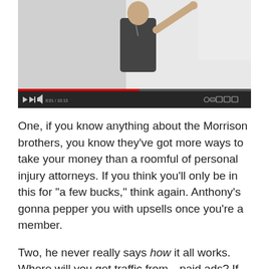[Figure (screenshot): A video player screenshot showing a person in a dark t-shirt pointing at a whiteboard, with video playback controls at the bottom including a red progress bar at roughly 52% completion and time stamp showing 8:01/10:13.]
One, if you know anything about the Morrison brothers, you know they've got more ways to take your money than a roomful of personal injury attorneys. If you think you'll only be in this for "a few bucks," think again. Anthony's gonna pepper you with upsells once you're a member.
Two, he never really says how it all works. Where will you get traffic from—paid ads? If so, how much will you need for that? And